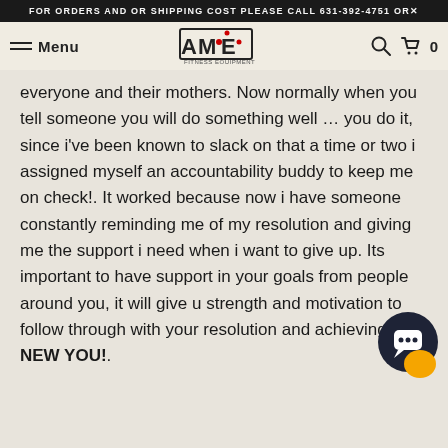FOR ORDERS AND OR SHIPPING COST PLEASE CALL 631-392-4751 OR
[Figure (logo): AME Fitness Equipment logo with hamburger menu and 'Menu' label on left, search and cart icons on right]
everyone and their mothers. Now normally when you tell someone you will do something well … you do it, since i've been known to slack on that a time or two i assigned myself an accountability buddy to keep me on check!. It worked because now i have someone constantly reminding me of my resolution and giving me the support i need when i want to give up. Its important to have support in your goals from people around you, it will give u strength and motivation to follow through with your resolution and achieving your NEW YOU!.
[Figure (illustration): Chat widget button (dark circle with chat bubble icon and orange accent)]